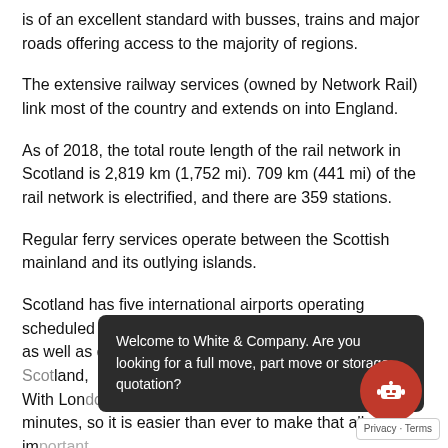is of an excellent standard with busses, trains and major roads offering access to the majority of regions.
The extensive railway services (owned by Network Rail) link most of the country and extends on into England.
As of 2018, the total route length of the rail network in Scotland is 2,819 km (1,752 mi). 709 km (441 mi) of the rail network is electrified, and there are 359 stations.
Regular ferry services operate between the Scottish mainland and its outlying islands.
Scotland has five international airports operating scheduled services to Europe, North America and Asia, as well as domestic services. With London only an hour away and Frankfurt 90 minutes, so it is easier than ever to make that all-important meeting.